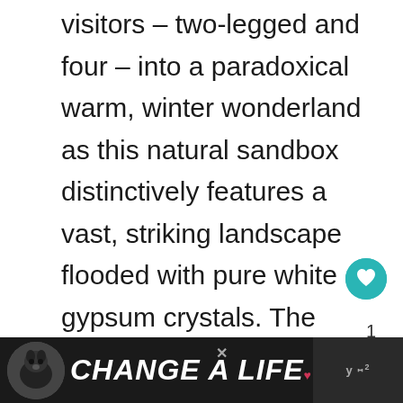visitors – two-legged and four – into a paradoxical warm, winter wonderland as this natural sandbox distinctively features a vast, striking landscape flooded with pure white gypsum crystals. The white, soft sand befuddled a snow-loving, mountain-obsessed … Read more
[Figure (infographic): Teal circular heart/favorite button with white heart icon]
1
[Figure (infographic): Advertisement bar: dark background with dog photo, 'CHANGE A LIFE' text in red/white italic bold, small heart symbol, close X button, and right section with logo/text]